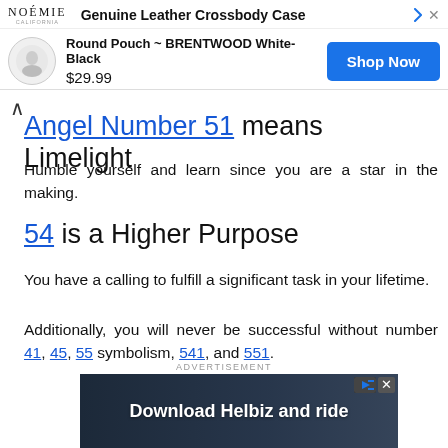[Figure (infographic): Top advertisement banner for NOÉMIE Genuine Leather Crossbody Case. Shows logo, product image thumbnail, product name 'Round Pouch ~ BRENTWOOD White-Black', price '$29.99', and blue 'Shop Now' button.]
Angel Number 51 means Limelight
Humble yourself and learn since you are a star in the making.
54 is a Higher Purpose
You have a calling to fulfill a significant task in your lifetime.
Additionally, you will never be successful without number 41, 45, 55 symbolism, 541, and 551.
ADVERTISEMENT
[Figure (photo): Bottom advertisement banner with dark background showing text 'Download Helbiz and ride' in white bold font, with a scooter/bike image in the background.]